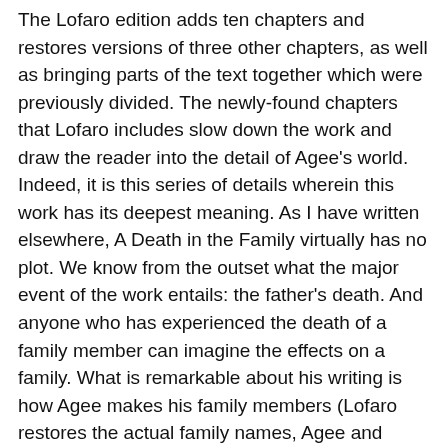The Lofaro edition adds ten chapters and restores versions of three other chapters, as well as bringing parts of the text together which were previously divided. The newly-found chapters that Lofaro includes slow down the work and draw the reader into the detail of Agee's world. Indeed, it is this series of details wherein this work has its deepest meaning. As I have written elsewhere, A Death in the Family virtually has no plot. We know from the outset what the major event of the work entails: the father's death. And anyone who has experienced the death of a family member can imagine the effects on a family. What is remarkable about his writing is how Agee makes his family members (Lofaro restores the actual family names, Agee and Tyler, to his text) so immediate and real: the way they cook, shop, worry for and about each other, and share and disagree with each other regarding viewpoints on various issues such as sexuality and religion. The familial details of life are at the heart of Agee's work, and Lofaro's version not only enhances these, but allows the reader to better understand the relationship of husband and wife, father and son, mother and son, and brother and sister.
Had the original editor, McDowell, not been so the...